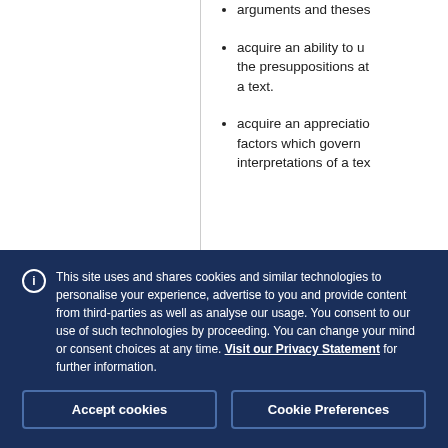arguments and theses…
acquire an ability to understand the presuppositions at… a text.
acquire an appreciation of… factors which govern… interpretations of a tex…
This site uses and shares cookies and similar technologies to personalise your experience, advertise to you and provide content from third-parties as well as analyse our usage. You consent to our use of such technologies by proceeding. You can change your mind or consent choices at any time. Visit our Privacy Statement for further information.
Accept cookies
Cookie Preferences